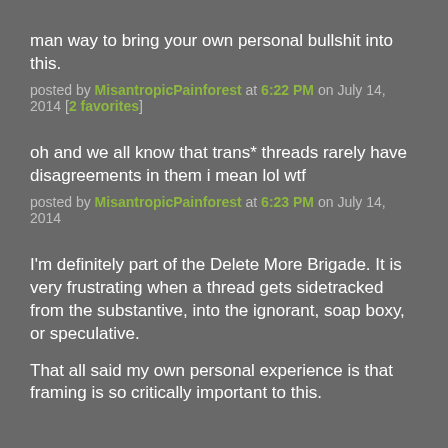man way to bring your own personal bullshit into this.
posted by MisantropicPainforest at 6:22 PM on July 14, 2014 [2 favorites]
oh and we all know that trans* threads rarely have disagreements in them i mean lol wtf
posted by MisantropicPainforest at 6:23 PM on July 14, 2014
I'm definitely part of the Delete More Brigade. It is very frustrating when a thread gets sidetracked from the substantive, into the ignorant, soap boxy, or speculative.
That all said my own personal experience is that framing is so critically important to this.